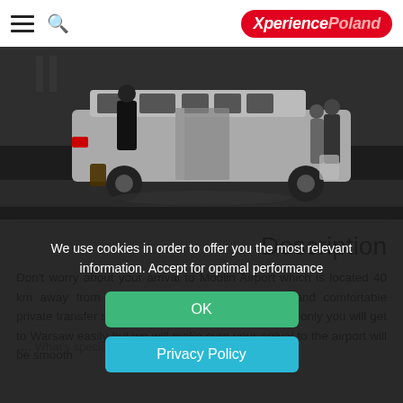XperiencePoland
[Figure (photo): Silver minivan/van with sliding door open at an airport, people loading luggage, dark background]
Description
Don't worry about your arrival to Modlin Airport which is located 40 km away from Warsaw center. Enjoy an easy and comfortable private transfer straight to your accommodation. Not only you will get to Warsaw easily but we will make sure your arrival to the airport will be smooth
We use cookies in order to offer you the most relevant information. Accept for optimal performance
OK
Privacy Policy